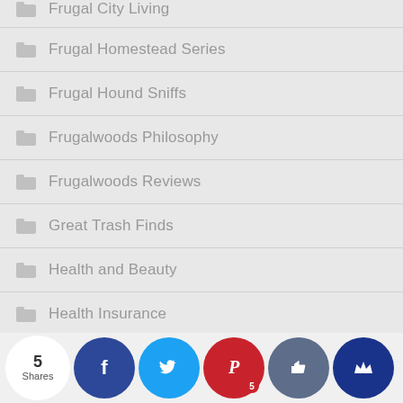Frugal City Living
Frugal Homestead Series
Frugal Hound Sniffs
Frugalwoods Philosophy
Frugalwoods Reviews
Great Trash Finds
Health and Beauty
Health Insurance
Holidays and Special Occasions
Income Improvements
[Figure (infographic): Social share bar with 5 Shares counter and buttons: Facebook, Twitter, Pinterest (5), Like, and Crown/bookmark icons]